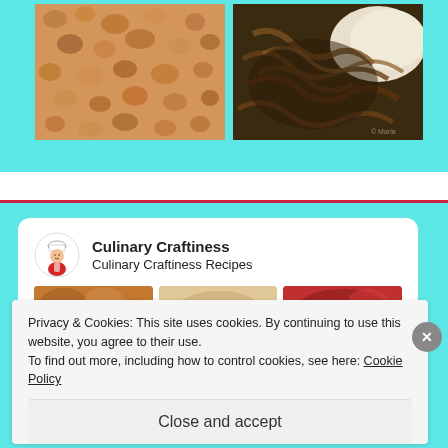[Figure (photo): Close-up photo of a textured golden-brown crumbled food surface (left food image)]
[Figure (photo): Close-up photo of dark caramelized onions with mashed potatoes (right food image)]
[Figure (screenshot): Culinary Craftiness social media card with logo, title 'Culinary Craftiness', subtitle 'Culinary Craftiness Recipes', and three small food images below]
Privacy & Cookies: This site uses cookies. By continuing to use this website, you agree to their use.
To find out more, including how to control cookies, see here: Cookie Policy
Close and accept